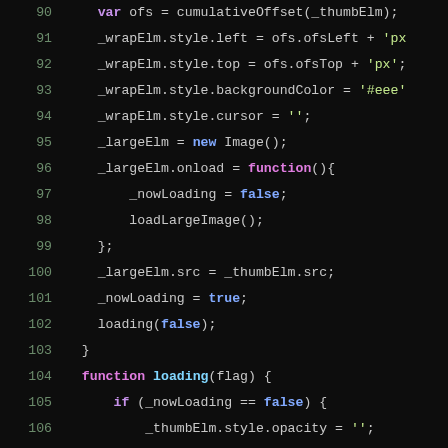[Figure (screenshot): Dark-themed code editor screenshot showing JavaScript source code, lines 90-115, with syntax highlighting. Keywords in purple/pink, built-in values in blue, strings in green/yellow, function names in cyan/blue, plain code in light gray, on a near-black background.]